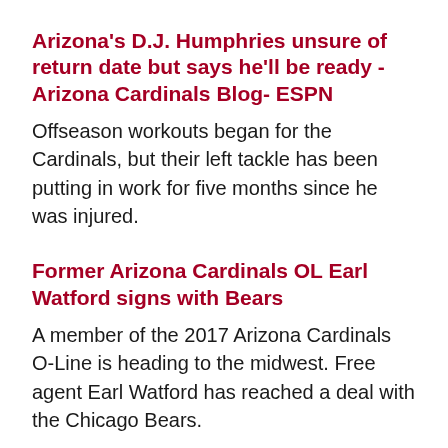Arizona's D.J. Humphries unsure of return date but says he'll be ready - Arizona Cardinals Blog- ESPN
Offseason workouts began for the Cardinals, but their left tackle has been putting in work for five months since he was injured.
Former Arizona Cardinals OL Earl Watford signs with Bears
A member of the 2017 Arizona Cardinals O-Line is heading to the midwest. Free agent Earl Watford has reached a deal with the Chicago Bears.